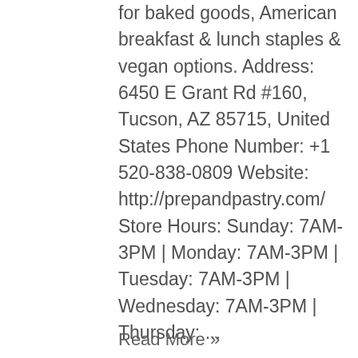for baked goods, American breakfast & lunch staples & vegan options. Address: 6450 E Grant Rd #160, Tucson, AZ 85715, United States Phone Number: +1 520-838-0809 Website: http://prepandpastry.com/ Store Hours: Sunday: 7AM-3PM | Monday: 7AM-3PM | Tuesday: 7AM-3PM | Wednesday: 7AM-3PM | Thursday: ...
Read More »